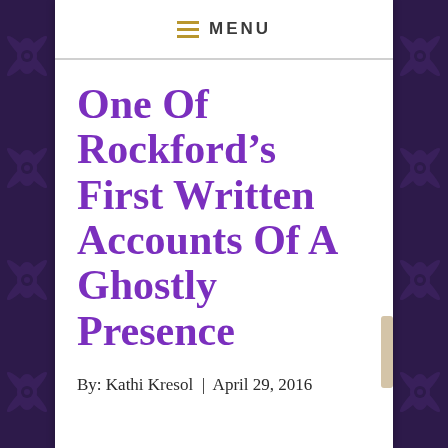MENU
One Of Rockford’s First Written Accounts Of A Ghostly Presence
By: Kathi Kresol  |  April 29, 2016